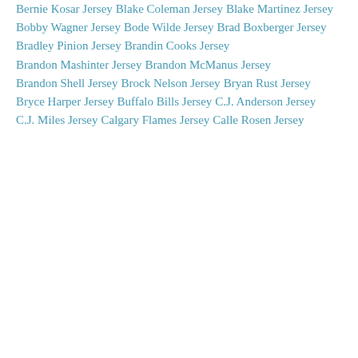Bernie Kosar Jersey
Blake Coleman Jersey
Blake Martinez Jersey
Bobby Wagner Jersey
Bode Wilde Jersey
Brad Boxberger Jersey
Bradley Pinion Jersey
Brandin Cooks Jersey
Brandon Mashinter Jersey
Brandon McManus Jersey
Brandon Shell Jersey
Brock Nelson Jersey
Bryan Rust Jersey
Bryce Harper Jersey
Buffalo Bills Jersey
C.J. Anderson Jersey
C.J. Miles Jersey
Calgary Flames Jersey
Calle Rosen Jersey